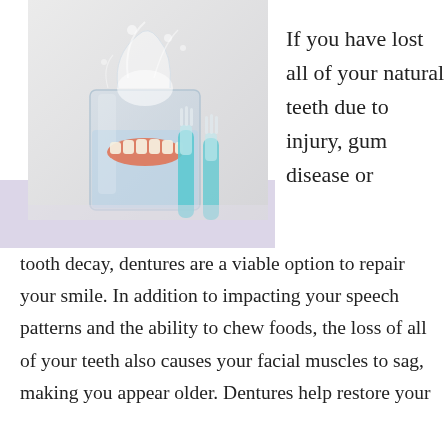[Figure (photo): A photo of dentures being dropped into a glass of water with a splash, and two blue toothbrushes in the foreground on a white background. A lavender/light purple rectangle overlaps the lower-left portion of the photo.]
If you have lost all of your natural teeth due to injury, gum disease or tooth decay, dentures are a viable option to repair your smile. In addition to impacting your speech patterns and the ability to chew foods, the loss of all of your teeth also causes your facial muscles to sag, making you appear older. Dentures help restore your